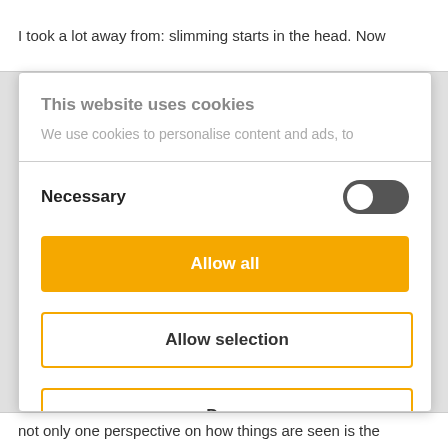I took a lot away from: slimming starts in the head. Now
This website uses cookies
We use cookies to personalise content and ads, to
Necessary
Allow all
Allow selection
Deny
not only one perspective on how things are seen is the